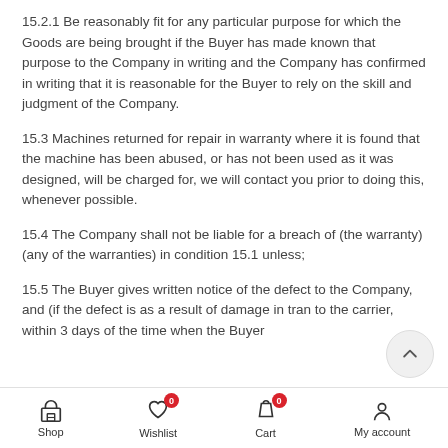15.2.1 Be reasonably fit for any particular purpose for which the Goods are being brought if the Buyer has made known that purpose to the Company in writing and the Company has confirmed in writing that it is reasonable for the Buyer to rely on the skill and judgment of the Company.
15.3 Machines returned for repair in warranty where it is found that the machine has been abused, or has not been used as it was designed, will be charged for, we will contact you prior to doing this, whenever possible.
15.4 The Company shall not be liable for a breach of (the warranty) (any of the warranties) in condition 15.1 unless;
15.5 The Buyer gives written notice of the defect to the Company, and (if the defect is as a result of damage in tran... to the carrier, within 3 days of the time when the Buyer
Shop  Wishlist 0  Cart 0  My account